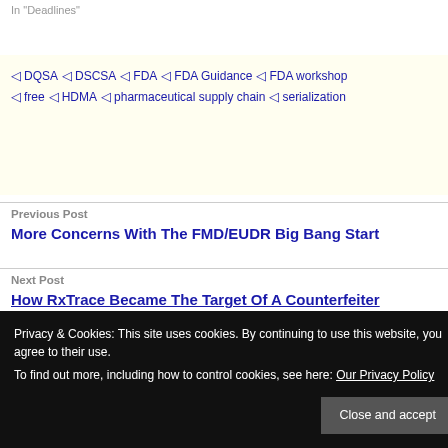In "Deadlines"
DQSA
DSCSA
FDA
FDA Guidance
FDA workshop
free
HDMA
pharmaceutical supply chain
serialization
Previous Post
More Concerns With The FMD/EUDR Big Bang Start
Next Post
How RxTrace Became The Target Of A Counterfeiter
Privacy & Cookies: This site uses cookies. By continuing to use this website, you agree to their use. To find out more, including how to control cookies, see here: Our Privacy Policy
Close and accept